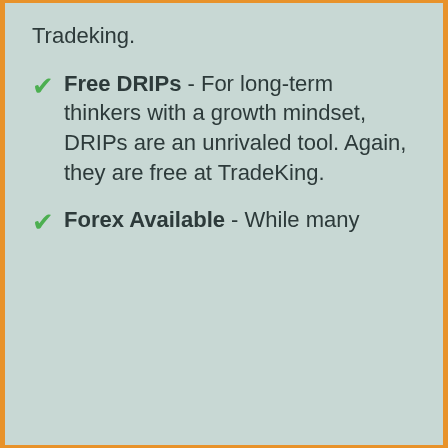Tradeking.
Free DRIPs - For long-term thinkers with a growth mindset, DRIPs are an unrivaled tool. Again, they are free at TradeKing.
Forex Available - While many